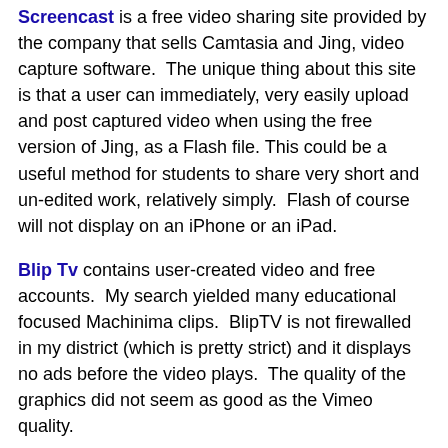Screencast is a free video sharing site provided by the company that sells Camtasia and Jing, video capture software.  The unique thing about this site is that a user can immediately, very easily upload and post captured video when using the free version of Jing, as a Flash file. This could be a useful method for students to share very short and un-edited work, relatively simply.  Flash of course will not display on an iPhone or an iPad.
Blip Tv contains user-created video and free accounts.  My search yielded many educational focused Machinima clips.  BlipTV is not firewalled in my district (which is pretty strict) and it displays no ads before the video plays.  The quality of the graphics did not seem as good as the Vimeo quality.
I have not had an opportunity to review the many other